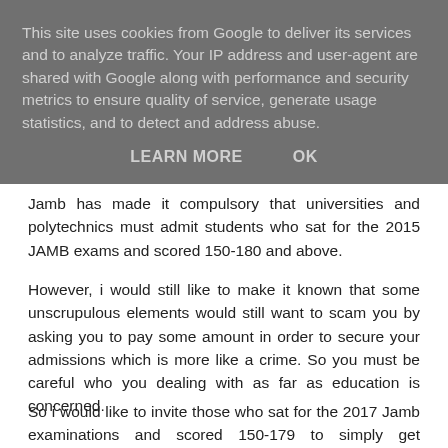This site uses cookies from Google to deliver its services and to analyze traffic. Your IP address and user-agent are shared with Google along with performance and security metrics to ensure quality of service, generate usage statistics, and to detect and address abuse.
LEARN MORE   OK
Jamb has made it compulsory that universities and polytechnics must admit students who sat for the 2015 JAMB exams and scored 150-180 and above.
However, i would still like to make it known that some unscrupulous elements would still want to scam you by asking you to pay some amount in order to secure your admissions which is more like a crime. So you must be careful who you dealing with as far as education is concerned.
So i would like to invite those who sat for the 2017 Jamb examinations and scored 150-179 to simply get polytechnic